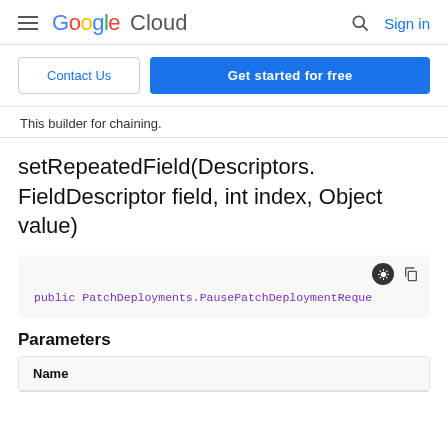Google Cloud  Sign in
Contact Us | Get started for free
This builder for chaining.
setRepeatedField(Descriptors.FieldDescriptor field, int index, Object value)
public PatchDeployments.PausePatchDeploymentReque
Parameters
| Name |
| --- |